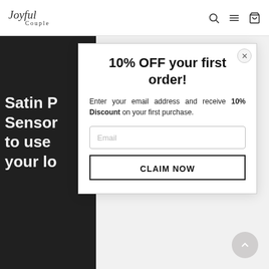Joyful Couple
[Figure (screenshot): Black background panel with bold white text partially reading 'Satin P... Sensor... to use... your lo...']
10% OFF your first order!
Enter your email address and receive 10% Discount on your first purchase.
Email
CLAIM NOW